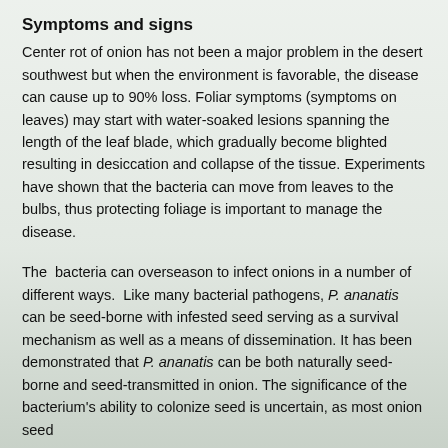Symptoms and signs
Center rot of onion has not been a major problem in the desert southwest but when the environment is favorable, the disease can cause up to 90% loss. Foliar symptoms (symptoms on leaves) may start with water-soaked lesions spanning the length of the leaf blade, which gradually become blighted resulting in desiccation and collapse of the tissue. Experiments have shown that the bacteria can move from leaves to the bulbs, thus protecting foliage is important to manage the disease.
The  bacteria can overseason to infect onions in a number of different ways.  Like many bacterial pathogens, P. ananatis can be seed-borne with infested seed serving as a survival mechanism as well as a means of dissemination. It has been demonstrated that P. ananatis can be both naturally seed-borne and seed-transmitted in onion. The significance of the bacterium's ability to colonize seed is uncertain, as most onion seed